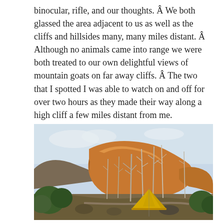binocular, rifle, and our thoughts. Â We both glassed the area adjacent to us as well as the cliffs and hillsides many, many miles distant. Â Although no animals came into range we were both treated to our own delightful views of mountain goats on far away cliffs. Â The two that I spotted I was able to watch on and off for over two hours as they made their way along a high cliff a few miles distant from me.
[Figure (photo): Outdoor camping scene with a yellow tent in the foreground among dead bare trees and green pine shrubs. In the background, a large rocky cliff face is illuminated with warm golden/orange light from the sunset. The sky is light blue with faint clouds.]